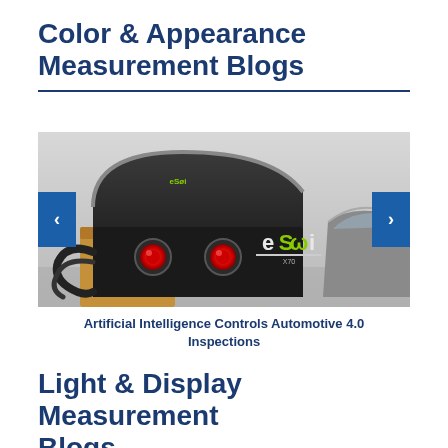Color & Appearance Measurement Blogs
[Figure (photo): Photo of an eSqi automotive color and appearance inspection device, a black curved machine with red circular sensors and the eSqi logo, shown next to a car. Carousel with left and right navigation arrows.]
Artificial Intelligence Controls Automotive 4.0 Inspections
Light & Display Measurement Blogs